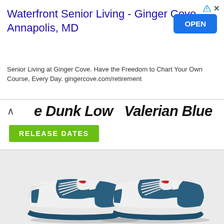[Figure (screenshot): Advertisement banner for Waterfront Senior Living - Ginger Cove, Annapolis MD with OPEN button and small arrow/X icons]
e Dunk Low  Valerian Blue
RELEASE DATES
[Figure (photo): Nike Dunk Low Valerian Blue sneakers - a pair of low-top sneakers with white and dark teal/blue leather upper, white laces, red Nike logo on tongue, teal Nike swoosh on the side, and teal/dark blue outsole on a light grey background]